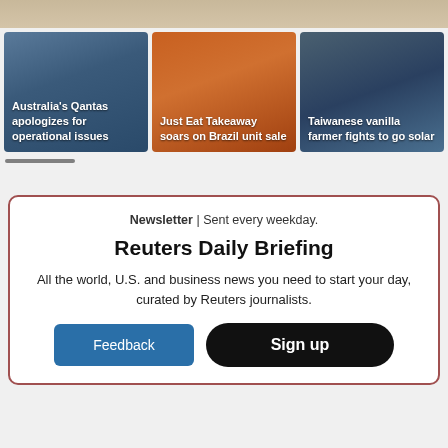[Figure (photo): Top image strip showing partial image, tan/beige tones]
[Figure (photo): News card 1: Australia's Qantas apologizes for operational issues — dark blue background with Qantas aircraft]
[Figure (photo): News card 2: Just Eat Takeaway soars on Brazil unit sale — orange/red background with mobile device]
[Figure (photo): News card 3: Taiwanese vanilla farmer fights to go solar — dark blue/grey background with road/sky]
Reuters Daily Briefing
Newsletter | Sent every weekday.
All the world, U.S. and business news you need to start your day, curated by Reuters journalists.
Feedback
Sign up